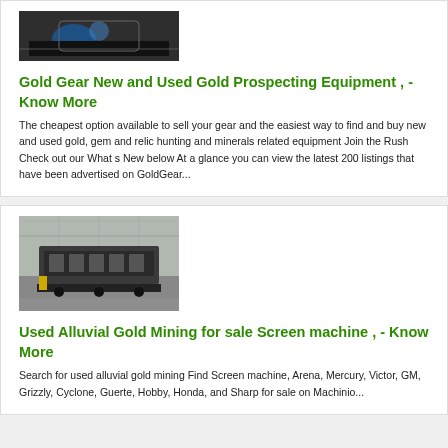[Figure (photo): Photo of gold prospecting equipment/machinery, dark industrial scene]
Gold Gear New and Used Gold Prospecting Equipment , - Know More
The cheapest option available to sell your gear and the easiest way to find and buy new and used gold, gem and relic hunting and minerals related equipment Join the Rush Check out our What s New below At a glance you can view the latest 200 listings that have been advertised on GoldGear...
[Figure (photo): Photo of large industrial alluvial gold mining screen machine in a warehouse]
Used Alluvial Gold Mining for sale Screen machine , - Know More
Search for used alluvial gold mining Find Screen machine, Arena, Mercury, Victor, GM, Grizzly, Cyclone, Guerte, Hobby, Honda, and Sharp for sale on Machinio...